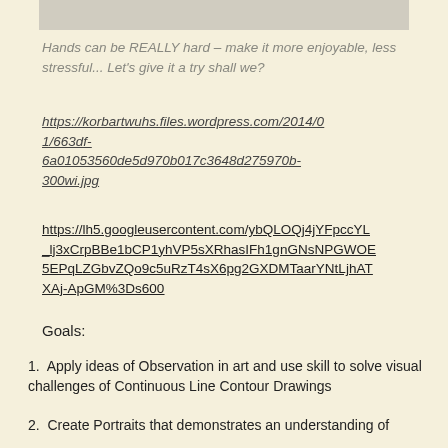[Figure (photo): Partial image at top of page, appears to be a drawing or photo related to hands]
Hands can be REALLY hard – make it more enjoyable, less stressful... Let's give it a try shall we?
https://korbartwuhs.files.wordpress.com/2014/01/663df-6a01053560de5d970b017c3648d275970b-300wi.jpg
https://lh5.googleusercontent.com/ybQLOQj4jYFpccYL_lj3xCrpBBe1bCP1yhVP5sXRhasIFh1gnGNsNPGWOE5EPqLZGbvZQo9c5uRzT4sX6pg2GXDMTaarYNtLjhATXAj-ApGM%3Ds600
Goals:
Apply ideas of Observation in art and use skill to solve visual challenges of Continuous Line Contour Drawings
Create Portraits that demonstrates an understanding of